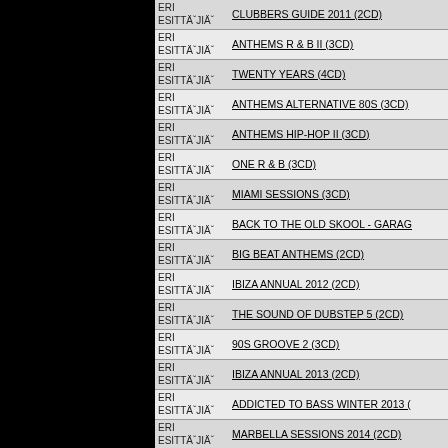| Esittäjä | Album |
| --- | --- |
| ERI ESITTÄJIÄˇ | CLUBBERS GUIDE 2011 (2CD) |
| ERI ESITTÄJIÄˇ | ANTHEMS R & B II (3CD) |
| ERI ESITTÄJIÄˇ | TWENTY YEARS (4CD) |
| ERI ESITTÄJIÄˇ | ANTHEMS ALTERNATIVE 80S (3CD) |
| ERI ESITTÄJIÄˇ | ANTHEMS HIP-HOP II (3CD) |
| ERI ESITTÄJIÄˇ | ONE R & B (3CD) |
| ERI ESITTÄJIÄˇ | MIAMI SESSIONS (3CD) |
| ERI ESITTÄJIÄˇ | BACK TO THE OLD SKOOL - GARAG |
| ERI ESITTÄJIÄˇ | BIG BEAT ANTHEMS (2CD) |
| ERI ESITTÄJIÄˇ | IBIZA ANNUAL 2012 (2CD) |
| ERI ESITTÄJIÄˇ | THE SOUND OF DUBSTEP 5 (2CD) |
| ERI ESITTÄJIÄˇ | 90S GROOVE 2 (3CD) |
| ERI ESITTÄJIÄˇ | IBIZA ANNUAL 2013 (2CD) |
| ERI ESITTÄJIÄˇ | ADDICTED TO BASS WINTER 2013 ( |
| ERI ESITTÄJIÄˇ | MARBELLA SESSIONS 2014 (2CD) |
| ERI ESITTÄJIÄˇ | IBIZA ANNUAL '14 (2CD) |
| ERI ESITTÄJIÄˇ | MASTERPIECE GOLDIE (3CD) |
| ERI ESITTÄJIÄˇ | BBC RADIO 1'S DANCE ANTHEMS IE |
| ERI ESITTÄJIÄˇ |  |